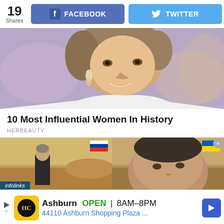[Figure (screenshot): Social share bar with 19 shares, Facebook button, Twitter button]
[Figure (photo): Close-up photo of a smiling woman with short hair and drop earrings, wearing white]
10 Most Influential Women In History
HERBEAUTY
[Figure (photo): Two side-by-side images of men in outdoor settings, left with Russian flag overlay, right with Ukrainian flag overlay. Infolinks label at bottom left.]
Ashburn OPEN 8AM–8PM 44110 Ashburn Shopping Plaza ...